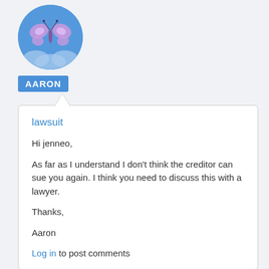[Figure (illustration): Circular avatar with butterfly illustration on blue background]
AARON
lawsuit
Hi jenneo,
As far as I understand I don't think the creditor can sue you again. I think you need to discuss this with a lawyer.
Thanks,
Aaron
Log in to post comments